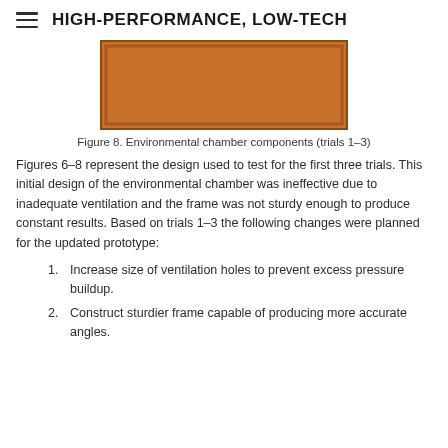HIGH-PERFORMANCE, LOW-TECH
[Figure (illustration): Orange/brown rectangular panel representing an environmental chamber component, partially cropped at top of view.]
Figure 8. Environmental chamber components (trials 1–3)
Figures 6–8 represent the design used to test for the first three trials. This initial design of the environmental chamber was ineffective due to inadequate ventilation and the frame was not sturdy enough to produce constant results. Based on trials 1–3 the following changes were planned for the updated prototype:
Increase size of ventilation holes to prevent excess pressure buildup.
Construct sturdier frame capable of producing more accurate angles.